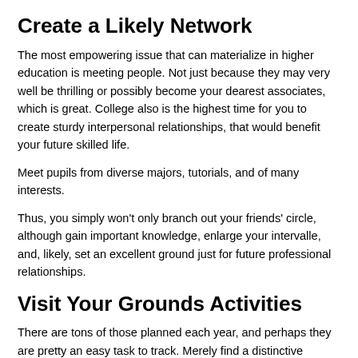Create a Likely Network
The most empowering issue that can materialize in higher education is meeting people. Not just because they may very well be thrilling or possibly become your dearest associates, which is great. College also is the highest time for you to create sturdy interpersonal relationships, that would benefit your future skilled life.
Meet pupils from diverse majors, tutorials, and of many interests.
Thus, you simply won't only branch out your friends' circle, although gain important knowledge, enlarge your intervalle, and, likely, set an excellent ground just for future professional relationships.
Visit Your Grounds Activities
There are tons of those planned each year, and perhaps they are pretty an easy task to track. Merely find a distinctive campus workout board, a certain section of a school website or simply a social media crew.